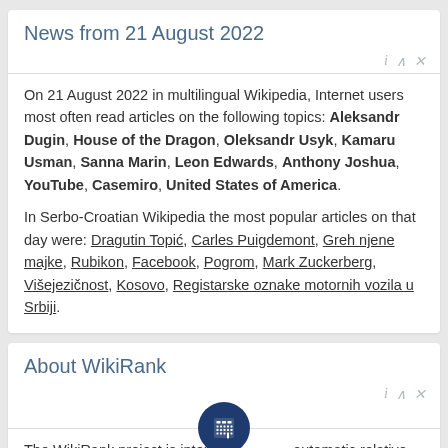News from 21 August 2022
On 21 August 2022 in multilingual Wikipedia, Internet users most often read articles on the following topics: Aleksandr Dugin, House of the Dragon, Oleksandr Usyk, Kamaru Usman, Sanna Marin, Leon Edwards, Anthony Joshua, YouTube, Casemiro, United States of America.

In Serbo-Croatian Wikipedia the most popular articles on that day were: Dragutin Topić, Carles Puigdemont, Greh njene majke, Rubikon, Facebook, Pogrom, Mark Zuckerberg, Višejezičnost, Kosovo, Registarske oznake motornih vozila u Srbiji.
About WikiRank
The WikiRank project is intended for automatic relative evaluation of the articles in the various language versions of Wikipedia. At